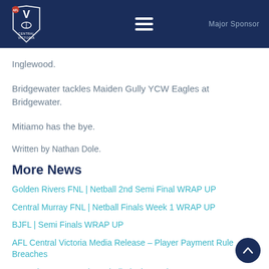[Figure (logo): AFL Central Victoria shield logo with V and football icon, white on dark navy background]
Major Sponsor
Inglewood.
Bridgewater tackles Maiden Gully YCW Eagles at Bridgewater.
Mitiamo has the bye.
Written by Nathan Dole.
More News
Golden Rivers FNL | Netball 2nd Semi Final WRAP UP
Central Murray FNL | Netball Finals Week 1 WRAP UP
BJFL | Semi Finals WRAP UP
AFL Central Victoria Media Release – Player Payment Rule Breaches
Central Murray FNL | Football Finals Week 1 WRAP UP